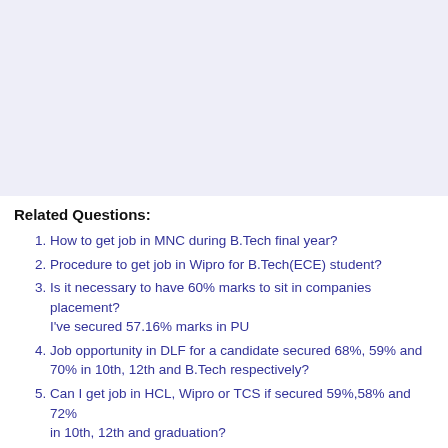[Figure (other): Light blue/lavender shaded rectangular area occupying the top portion of the page]
Related Questions:
How to get job in MNC during B.Tech final year?
Procedure to get job in Wipro for B.Tech(ECE) student?
Is it necessary to have 60% marks to sit in companies placement? I've secured 57.16% marks in PU
Job opportunity in DLF for a candidate secured 68%, 59% and 70% in 10th, 12th and B.Tech respectively?
Can I get job in HCL, Wipro or TCS if secured 59%,58% and 72% in 10th, 12th and graduation?